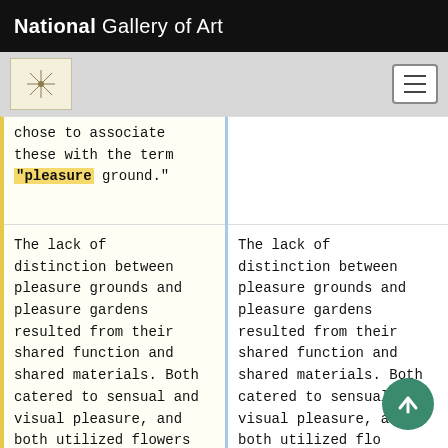National Gallery of Art
chose to associate these with the term "pleasure ground."
The lack of distinction between pleasure grounds and pleasure gardens resulted from their shared function and shared materials. Both catered to sensual and visual pleasure, and both utilized flowers and shrubs, which were also used in [[flower
The lack of distinction between pleasure grounds and pleasure gardens resulted from their shared function and shared materials. Both catered to sensual and visual pleasure, and both utilized flowers and [[shrub]]s, which were also used in